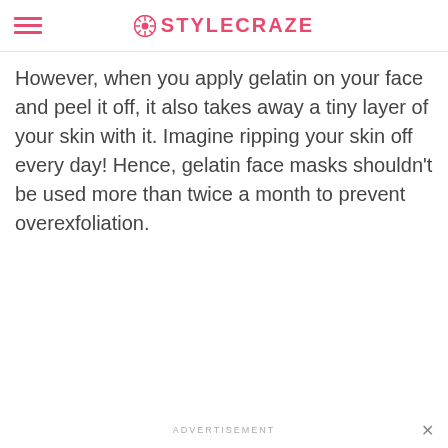STYLECRAZE
However, when you apply gelatin on your face and peel it off, it also takes away a tiny layer of your skin with it. Imagine ripping your skin off every day! Hence, gelatin face masks shouldn't be used more than twice a month to prevent overexfoliation.
ADVERTISEMENT